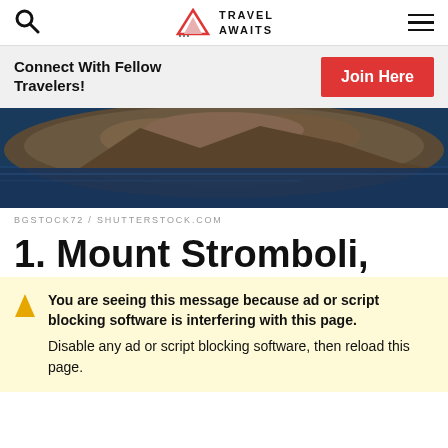Travel Awaits — navigation bar with search icon, logo, and hamburger menu
Connect With Fellow Travelers!
Join Here
[Figure (photo): Aerial or sea-level view of a rocky island (Mount Stromboli) rising from dark blue sea]
BGSTOCK72 / SHUTTERSTOCK.COM
1. Mount Stromboli,
You are seeing this message because ad or script blocking software is interfering with this page. Disable any ad or script blocking software, then reload this page.